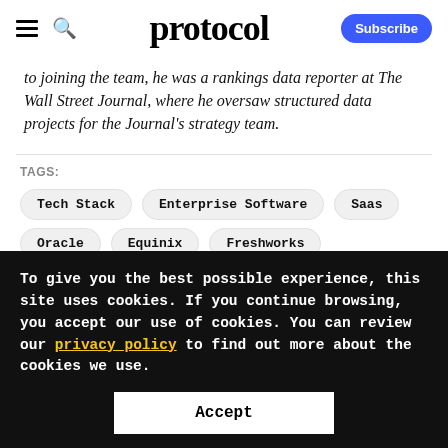protocol  Subscribe
to joining the team, he was a rankings data reporter at The Wall Street Journal, where he oversaw structured data projects for the Journal's strategy team.
TAGS:
Tech Stack
Enterprise Software
Saas
Oracle
Equinix
Freshworks
To give you the best possible experience, this site uses cookies. If you continue browsing, you accept our use of cookies. You can review our privacy policy to find out more about the cookies we use.
Accept